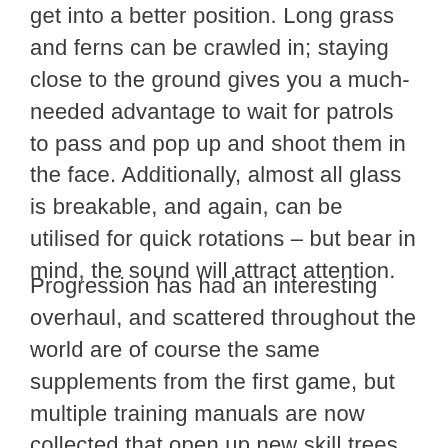get into a better position. Long grass and ferns can be crawled in; staying close to the ground gives you a much-needed advantage to wait for patrols to pass and pop up and shoot them in the face. Additionally, almost all glass is breakable, and again, can be utilised for quick rotations – but bear in mind, the sound will attract attention.
Progression has had an interesting overhaul, and scattered throughout the world are of course the same supplements from the first game, but multiple training manuals are now collected that open up new skill trees which progress in ascending order (the next perk only available if the preceding one is owned). Depending